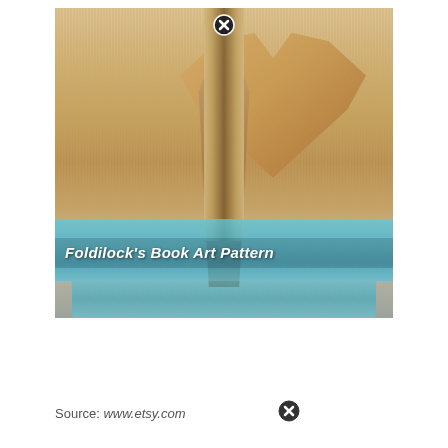[Figure (photo): A book folded into heart and tie shapes, decorated with a light blue ribbon at the base. The book pages are folded to create 3D sculptural art. Text overlay reads Foldilock's Book Art Pattern in white bold italic. A close/remove button (circled X) appears at the top center of the image.]
Source: www.etsy.com